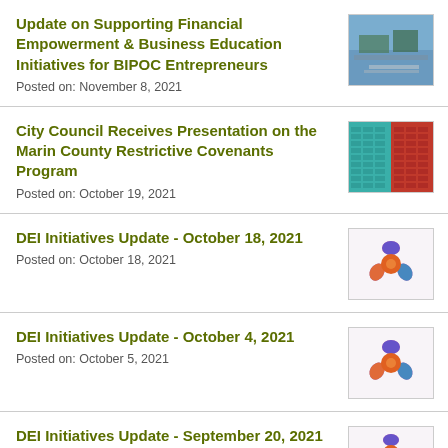Update on Supporting Financial Empowerment & Business Education Initiatives for BIPOC Entrepreneurs
Posted on: November 8, 2021
City Council Receives Presentation on the Marin County Restrictive Covenants Program
Posted on: October 19, 2021
DEI Initiatives Update - October 18, 2021
Posted on: October 18, 2021
DEI Initiatives Update - October 4, 2021
Posted on: October 5, 2021
DEI Initiatives Update - September 20, 2021